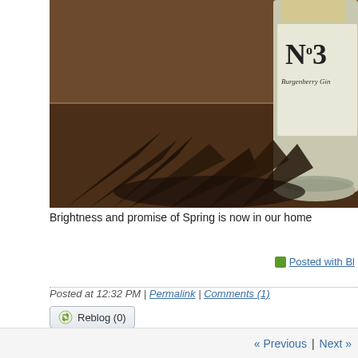[Figure (photo): Close-up photo of a No. 3 gin bottle (Burgenberry Gin) on a surface, with dramatic leaf shadows cast around the base of the bottle. The background shows a wall corner.]
Brightness and promise of Spring is now in our home
Posted with Bl...
Posted at 12:32 PM | Permalink | Comments (1)
Reblog (0)
« Previous | Next »